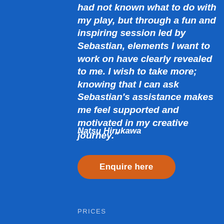had not known what to do with my play, but through a fun and inspiring session led by Sebastian, elements I want to work on have clearly revealed to me. I wish to take more; knowing that I can ask Sebastian's assistance makes me feel supported and motivated in my creative journey."
Natsu Hirukawa
Enquire here
PRICES